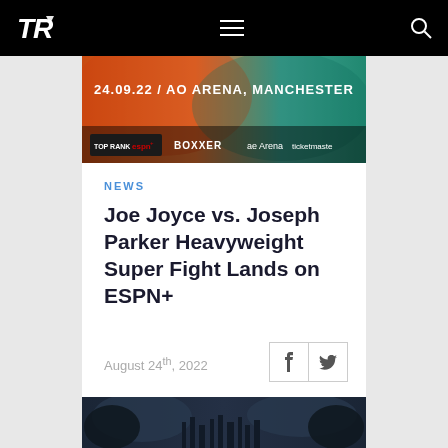TR (Top Rank logo) navigation bar with hamburger menu and search icon
[Figure (photo): Promotional banner for boxing event: 24.09.22 / AO ARENA, MANCHESTER with sponsor logos including Top Rank ESPN, BOXXER, ae Arena, ticketmaster]
NEWS
Joe Joyce vs. Joseph Parker Heavyweight Super Fight Lands on ESPN+
August 24th, 2022
[Figure (photo): Dark moody promotional image showing two boxers facing each other with a city skyline in the background]